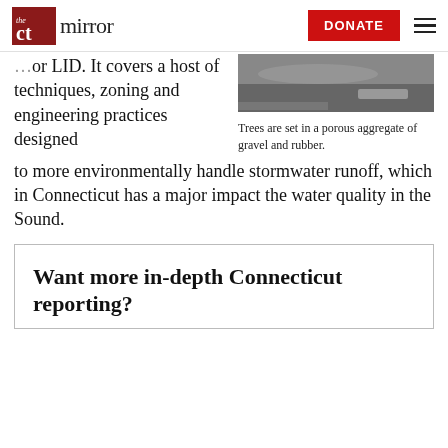The CT Mirror — DONATE
or LID. It covers a host of techniques, zoning and engineering practices designed to more environmentally handle stormwater runoff, which in Connecticut has a major impact the water quality in the Sound.
[Figure (photo): Close-up photo of a porous aggregate surface with gravel and rubber material]
Trees are set in a porous aggregate of gravel and rubber.
Want more in-depth Connecticut reporting?